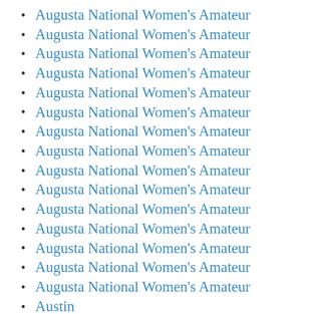Augusta National Women's Amateur
Augusta National Women's Amateur
Augusta National Women's Amateur
Augusta National Women's Amateur
Augusta National Women's Amateur
Augusta National Women's Amateur
Augusta National Women's Amateur
Augusta National Women's Amateur
Augusta National Women's Amateur
Augusta National Women's Amateur
Augusta National Women's Amateur
Augusta National Women's Amateur
Augusta National Women's Amateur
Augusta National Women's Amateur
Augusta National Women's Amateur
Austin